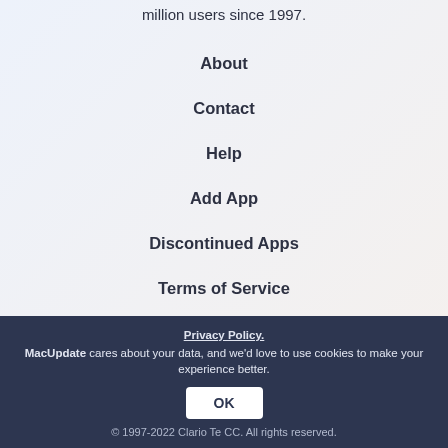million users since 1997.
About
Contact
Help
Add App
Discontinued Apps
Terms of Service
Privacy Policy.
MacUpdate cares about your data, and we'd love to use cookies to make your experience better.
OK
© 1997-2022 Clario Tech DMC. All rights reserved.